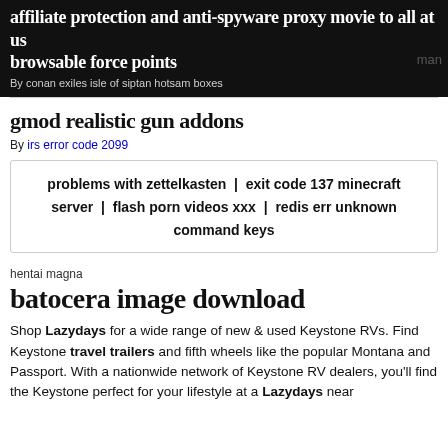affiliate protection and anti-spyware proxy movie to all at us browsable force points
By conan exiles isle of siptan hotsam boxes
man
gmod realistic gun addons
By irs error code 2099
problems with zettelkasten | exit code 137 minecraft server | flash porn videos xxx | redis err unknown command keys
hentai magna
batocera image download
Shop Lazydays for a wide range of new & used Keystone RVs. Find Keystone travel trailers and fifth wheels like the popular Montana and Passport. With a nationwide network of Keystone RV dealers, you'll find the Keystone perfect for your lifestyle at a Lazydays near